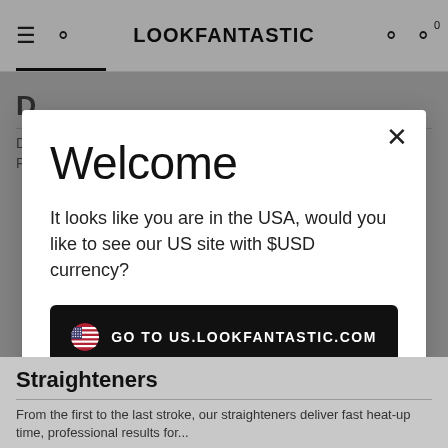LOOKFANTASTIC
Welcome
It looks like you are in the USA, would you like to see our US site with $USD currency?
GO TO US.LOOKFANTASTIC.COM
Bedankt, blijf op LOOKFANTASTIC.NL
Straighteners
From the first to the last stroke, our straighteners deliver fast heat-up time, professional results for...